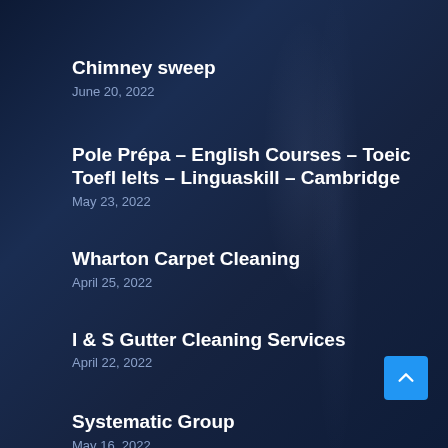Chimney sweep
June 20, 2022
Pole Prépa – English Courses – Toeic Toefl Ielts – Linguaskill – Cambridge
May 23, 2022
Wharton Carpet Cleaning
April 25, 2022
I & S Gutter Cleaning Services
April 22, 2022
Systematic Group
May 16, 2022